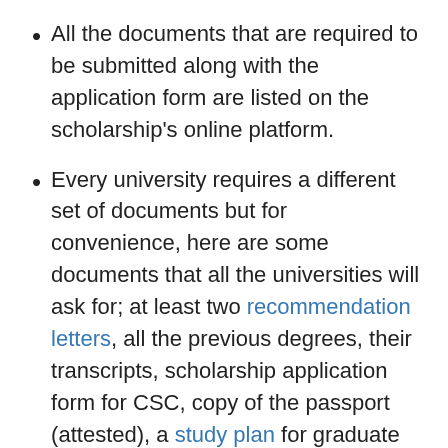All the documents that are required to be submitted along with the application form are listed on the scholarship's online platform.
Every university requires a different set of documents but for convenience, here are some documents that all the universities will ask for; at least two recommendation letters, all the previous degrees, their transcripts, scholarship application form for CSC, copy of the passport (attested), a study plan for graduate students, and SOP